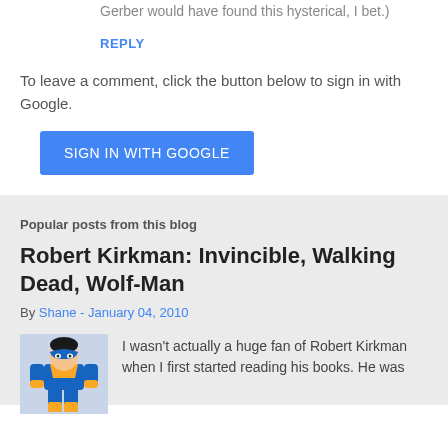Gerber would have found this hysterical, I bet.)
REPLY
To leave a comment, click the button below to sign in with Google.
[Figure (screenshot): Blue 'SIGN IN WITH GOOGLE' button]
Popular posts from this blog
Robert Kirkman: Invincible, Walking Dead, Wolf-Man
By Shane - January 04, 2010
[Figure (illustration): Comic book superhero character illustration - appears to be Invincible/Mark Grayson character in blue and yellow costume]
I wasn't actually a huge fan of Robert Kirkman when I first started reading his books. He was